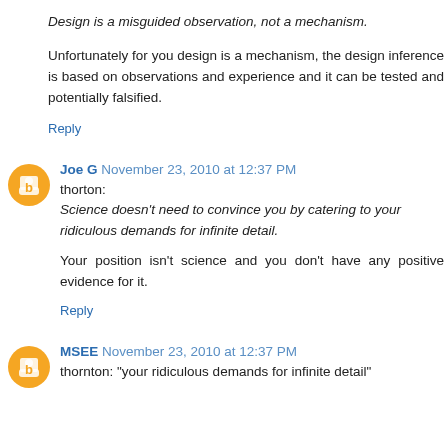Design is a misguided observation, not a mechanism.
Unfortunately for you design is a mechanism, the design inference is based on observations and experience and it can be tested and potentially falsified.
Reply
Joe G  November 23, 2010 at 12:37 PM
thorton:
Science doesn't need to convince you by catering to your ridiculous demands for infinite detail.
Your position isn't science and you don't have any positive evidence for it.
Reply
MSEE  November 23, 2010 at 12:37 PM
thornton: "your ridiculous demands for infinite detail"